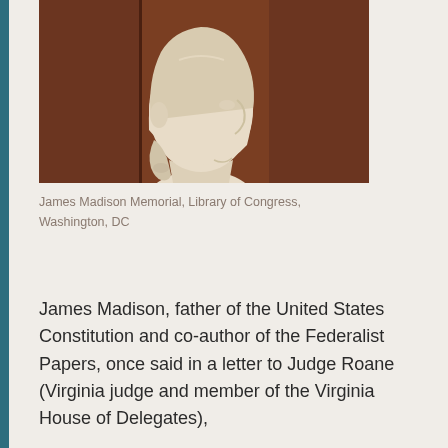[Figure (photo): A side-profile view of a white marble or plaster bust/statue of James Madison, facing right, with colonial-era hairstyle tied back, against a dark reddish-brown wood background. The statue appears to be located at the James Madison Memorial, Library of Congress, Washington DC.]
James Madison Memorial, Library of Congress, Washington, DC
James Madison, father of the United States Constitution and co-author of the Federalist Papers, once said in a letter to Judge Roane (Virginia judge and member of the Virginia House of Delegates),